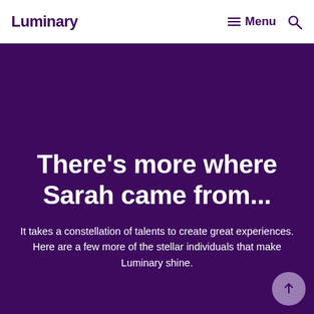Luminary   Menu
at 97.5 degrees.
There's more where Sarah came from...
It takes a constellation of talents to create great experiences. Here are a few more of the stellar individuals that make Luminary shine.